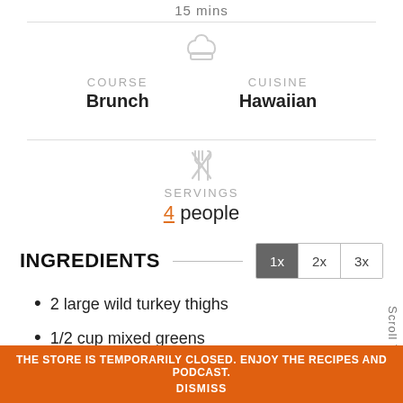15 mins
[Figure (illustration): Chef hat icon (gray outline)]
COURSE: Brunch | CUISINE: Hawaiian
[Figure (illustration): Fork and knife crossed icon (gray outline)]
SERVINGS: 4 people
INGREDIENTS
2 large wild turkey thighs
1/2 cup mixed greens
2 green onions
Scroll T
THE STORE IS TEMPORARILY CLOSED. ENJOY THE RECIPES AND PODCAST.
DISMISS